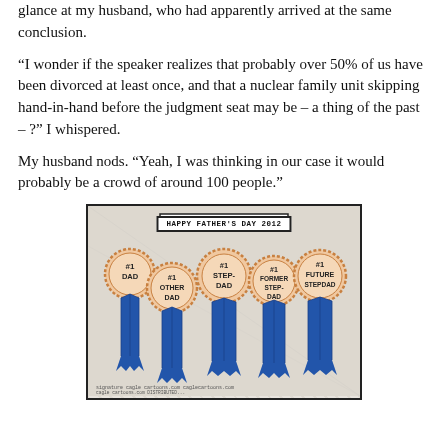glance at my husband, who had apparently arrived at the same conclusion.
“I wonder if the speaker realizes that probably over 50% of us have been divorced at least once, and that a nuclear family unit skipping hand-in-hand before the judgment seat may be – a thing of the past – ?” I whispered.
My husband nods. “Yeah, I was thinking in our case it would probably be a crowd of around 100 people.”
[Figure (illustration): Cartoon illustration titled 'HAPPY FATHER'S DAY 2012' showing five blue ribbon awards labeled: #1 DAD, #1 OTHER DAD, #1 STEP-DAD, #1 FORMER STEP-DAD, #1 FUTURE STEPDAD]